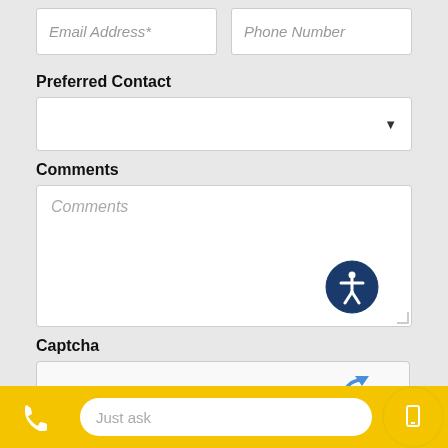[Figure (screenshot): Email Address and Phone Number input fields at top]
Preferred Contact
[Figure (screenshot): Preferred Contact dropdown selector]
Comments
[Figure (screenshot): Comments text area with accessibility icon]
Captcha
[Figure (screenshot): reCAPTCHA I'm not a robot checkbox widget]
[Figure (screenshot): SEND MESSAGE red button partially visible]
Just ask